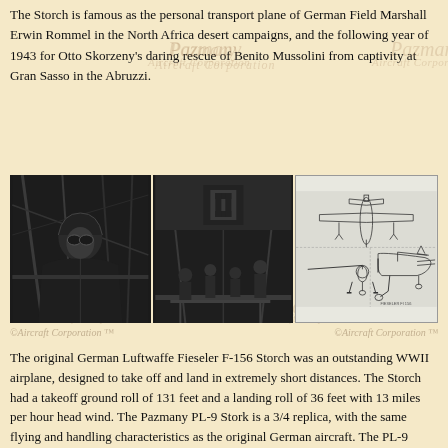The Storch is famous as the personal transport plane of German Field Marshall Erwin Rommel in the North Africa desert campaigns, and the following year of 1943 for Otto Skorzeny's daring rescue of Benito Mussolini from captivity at Gran Sasso in the Abruzzi.
[Figure (photo): Three black-and-white images: left shows a pilot in cockpit, center shows people around an aircraft, right shows technical three-view engineering drawing of Fieseler Storch aircraft.]
The original German Luftwaffe Fieseler F-156 Storch was an outstanding WWII airplane, designed to take off and land in extremely short distances. The Storch had a takeoff ground roll of 131 feet and a landing roll of 36 feet with 13 miles per hour head wind. The Pazmany PL-9 Stork is a 3/4 replica, with the same flying and handling characteristics as the original German aircraft. The PL-9 Stork is a professionally designed STOL aircraft.